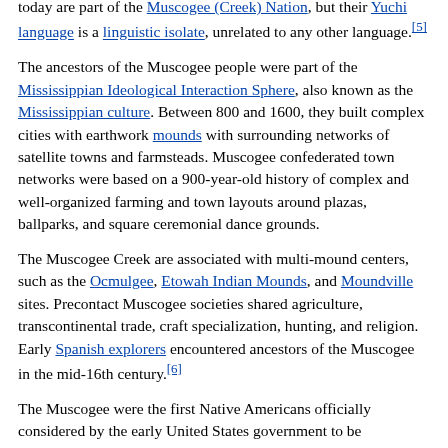today are part of the Muscogee (Creek) Nation, but their Yuchi language is a linguistic isolate, unrelated to any other language.[5]
The ancestors of the Muscogee people were part of the Mississippian Ideological Interaction Sphere, also known as the Mississippian culture. Between 800 and 1600, they built complex cities with earthwork mounds with surrounding networks of satellite towns and farmsteads. Muscogee confederated town networks were based on a 900-year-old history of complex and well-organized farming and town layouts around plazas, ballparks, and square ceremonial dance grounds.
The Muscogee Creek are associated with multi-mound centers, such as the Ocmulgee, Etowah Indian Mounds, and Moundville sites. Precontact Muscogee societies shared agriculture, transcontinental trade, craft specialization, hunting, and religion. Early Spanish explorers encountered ancestors of the Muscogee in the mid-16th century.[6]
The Muscogee were the first Native Americans officially considered by the early United States government to be "civilized" under George Washington's civilization plan. In the 19th century, the Muscogee were known as one of the "Five Civilized Tribes", because they were said to have integrated numerous cultural and technological practices of their more recent European American neighbors.